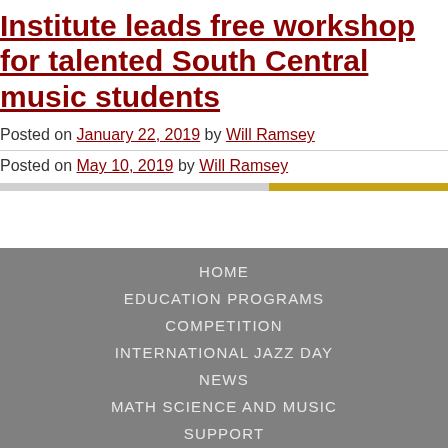Institute leads free workshop for talented South Central music students
Posted on January 22, 2019 by Will Ramsey
Posted on May 10, 2019 by Will Ramsey
HOME
EDUCATION PROGRAMS
COMPETITION
INTERNATIONAL JAZZ DAY
NEWS
MATH SCIENCE AND MUSIC
SUPPORT